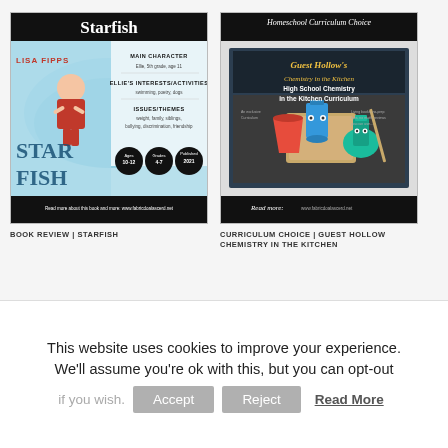[Figure (illustration): Book review card for 'Starfish' by Lisa Fipps showing a book cover with a girl in a swimsuit, pool background, and text about main character, interests/activities, and issues/themes with age/grade badges. Header bar reads 'Starfish' on black. Footer bar has website URL.]
BOOK REVIEW | STARFISH
[Figure (illustration): Curriculum choice card for 'Homeschool Curriculum Choice' showing a blog post about Guest Hollow Chemistry in the Kitchen with cartoon chemistry beakers, cutting board, and text 'High School Chemistry in the Kitchen Curriculum'. Header and footer bars are black.]
CURRICULUM CHOICE | GUEST HOLLOW CHEMISTRY IN THE KITCHEN
This website uses cookies to improve your experience. We'll assume you're ok with this, but you can opt-out if you wish.